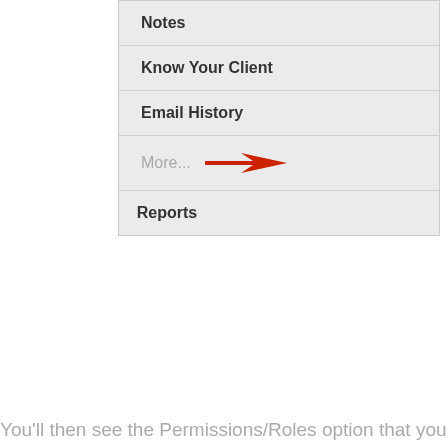[Figure (screenshot): Screenshot of a CRM navigation menu showing: Notes, Know Your Client, Email History, More... (with a red arrow pointing to it), and Reports items in a gray panel]
You'll then see the Permissions/Roles option that you ca
[Figure (screenshot): Screenshot of a CRM navigation panel showing: Contacts, Henry Rollins (in red), Accounts, Activities, Documents, Notes]